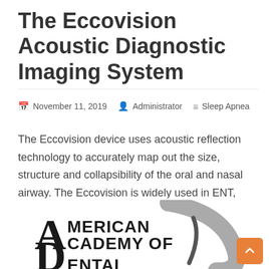The Eccovision Acoustic Diagnostic Imaging System
November 11, 2019   Administrator   Sleep Apnea
The Eccovision device uses acoustic reflection technology to accurately map out the size, structure and collapsibility of the oral and nasal airway. The Eccovision is widely used in ENT, Orthodontic and Sleep Disorders Dentistry practices. Orthodontists can use the device to examine the health of the airway before, during and after treatment. It is well ….   Read More
[Figure (logo): American Academy of Dental logo — partial view showing large stylized text 'AMERICAN ACADEMY OF DENTAL' with a gray curved swoosh graphic element]